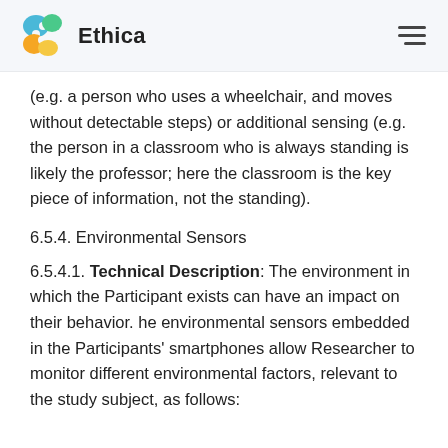Ethica
(e.g. a person who uses a wheelchair, and moves without detectable steps) or additional sensing (e.g. the person in a classroom who is always standing is likely the professor; here the classroom is the key piece of information, not the standing).
6.5.4. Environmental Sensors
6.5.4.1. Technical Description: The environment in which the Participant exists can have an impact on their behavior. he environmental sensors embedded in the Participants' smartphones allow Researcher to monitor different environmental factors, relevant to the study subject, as follows: